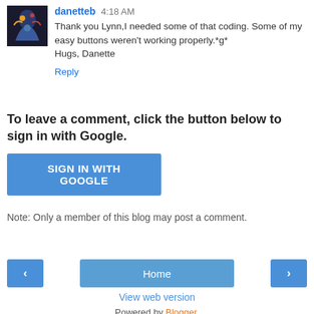danetteb 4:18 AM
Thank you Lynn,I needed some of that coding. Some of my easy buttons weren't working properly.*g*
Hugs, Danette
Reply
To leave a comment, click the button below to sign in with Google.
SIGN IN WITH GOOGLE
Note: Only a member of this blog may post a comment.
< Home >
View web version
Powered by Blogger.